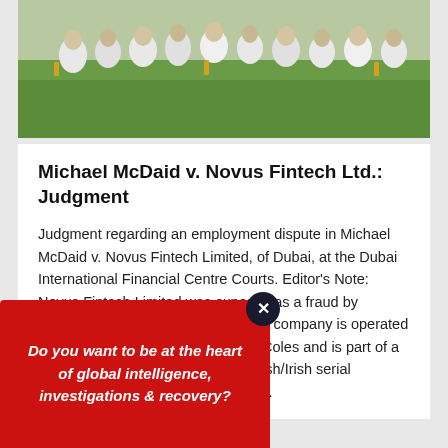[Figure (photo): Group of people in white uniforms crouching on a green grass field with trophies]
Michael McDaid v. Novus Fintech Ltd.: Judgment
Judgment regarding an employment dispute in Michael McDaid v. Novus Fintech Limited, of Dubai, at the Dubai International Financial Centre Courts. Editor's Note: Novus Fintech Limited was exposed as a fraud by OffshoreAlert in February 2021. The company is operated by United Kingdom national Stuart Coles and is part of a group whose principals include British/Irish serial investment fraudster Richard Fagan.
Do you want to be at the heart of global intelligence, investigations & recovery?